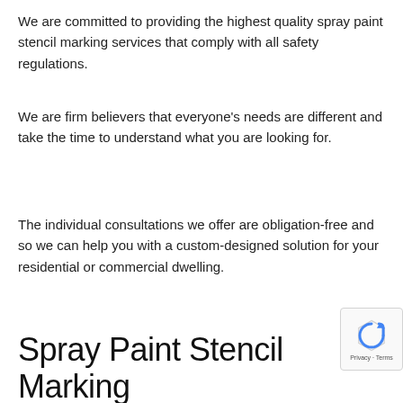We are committed to providing the highest quality spray paint stencil marking services that comply with all safety regulations.
We are firm believers that everyone's needs are different and take the time to understand what you are looking for.
The individual consultations we offer are obligation-free and so we can help you with a custom-designed solution for your residential or commercial dwelling.
Spray Paint Stencil Marking Process
While spray paint stencil marking may appear a simple